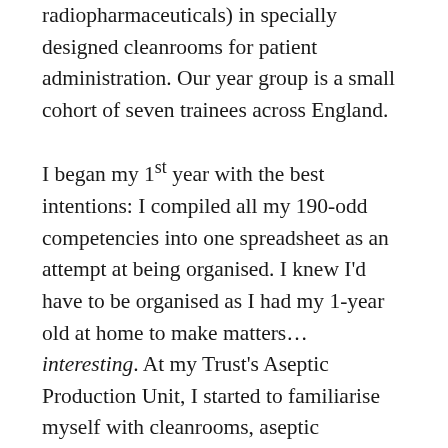radiopharmaceuticals) in specially designed cleanrooms for patient administration. Our year group is a small cohort of seven trainees across England.
I began my 1st year with the best intentions: I compiled all my 190-odd competencies into one spreadsheet as an attempt at being organised. I knew I'd have to be organised as I had my 1-year old at home to make matters… interesting. At my Trust's Aseptic Production Unit, I started to familiarise myself with cleanrooms, aseptic techniques, microbiological monitoring, and quality systems. I realised that many of my colleagues were unaware of what the STP entailed but nevertheless have been more than supportive